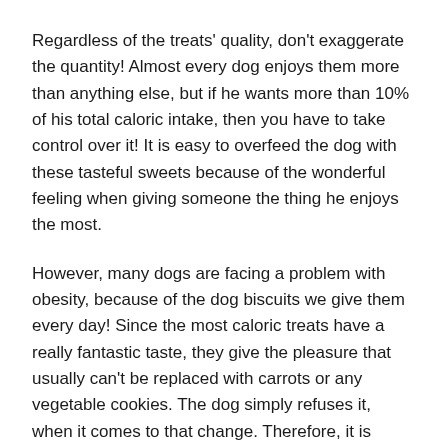Regardless of the treats' quality, don't exaggerate the quantity! Almost every dog enjoys them more than anything else, but if he wants more than 10% of his total caloric intake, then you have to take control over it! It is easy to overfeed the dog with these tasteful sweets because of the wonderful feeling when giving someone the thing he enjoys the most.
However, many dogs are facing a problem with obesity, because of the dog biscuits we give them every day! Since the most caloric treats have a really fantastic taste, they give the pleasure that usually can't be replaced with carrots or any vegetable cookies. The dog simply refuses it, when it comes to that change. Therefore, it is maybe better to wisely choose the treats you will offer to your dog, from the beginning.